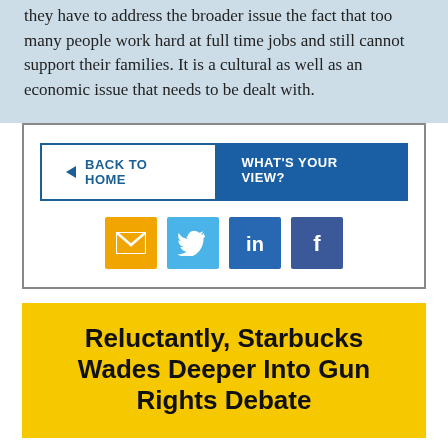they have to address the broader issue the fact that too many people work hard at full time jobs and still cannot support their families. It is a cultural as well as an economic issue that needs to be dealt with.
BACK TO HOME | WHAT'S YOUR VIEW?
[Figure (other): Social sharing icons: email (orange), Twitter (light blue), LinkedIn (dark blue), Facebook (dark blue)]
Reluctantly, Starbucks Wades Deeper Into Gun Rights Debate
Published on: September 18, 2013
Reuters reports that Starbucks is asking its US customers to leave their guns at home, though it is not imposing a blanket ban on